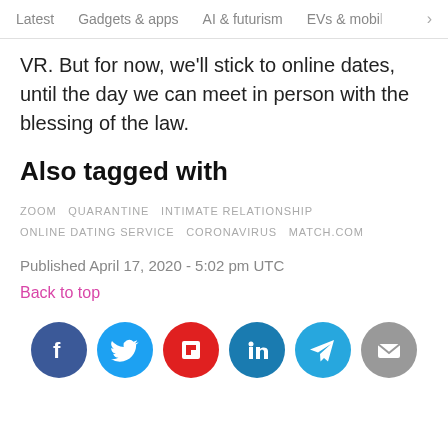Latest   Gadgets & apps   AI & futurism   EVs & mobil  >
VR. But for now, we'll stick to online dates, until the day we can meet in person with the blessing of the law.
Also tagged with
ZOOM  QUARANTINE  INTIMATE RELATIONSHIP  ONLINE DATING SERVICE  CORONAVIRUS  MATCH.COM
Published April 17, 2020 - 5:02 pm UTC
Back to top
[Figure (infographic): Row of six social sharing icon circles: Facebook (blue), Twitter (blue), Flipboard (red), LinkedIn (dark blue), Telegram (light blue), Email (grey)]